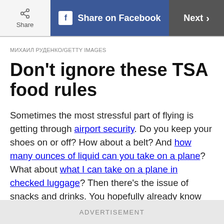Share | Share on Facebook | Next
МИХАИЛ РУДЕНКО/GETTY IMAGES
Don't ignore these TSA food rules
Sometimes the most stressful part of flying is getting through airport security. Do you keep your shoes on or off? How about a belt? And how many ounces of liquid can you take on a plane? What about what I can take on a plane in checked luggage? Then there's the issue of snacks and drinks. You hopefully already know that it would be...
ADVERTISEMENT